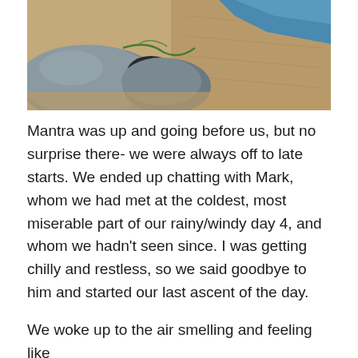[Figure (photo): Outdoor scene showing grey rounded boulders on sandy ground with a blue tarp or tent visible in the upper right corner. Sandy terrain with some green rope or cord visible near the rocks.]
Mantra was up and going before us, but no surprise there- we were always off to late starts. We ended up chatting with Mark, whom we had met at the coldest, most miserable part of our rainy/windy day 4, and whom we hadn't seen since. I was getting chilly and restless, so we said goodbye to him and started our last ascent of the day.
We woke up to the air smelling and feeling like